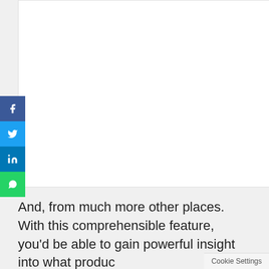[Figure (screenshot): White content area box in upper portion of page, representing embedded content or image placeholder]
[Figure (infographic): Social media share buttons sidebar with Facebook (blue), Twitter (light blue), LinkedIn (dark blue), and WhatsApp (green) icons]
And, from much more other places. With this comprehensible feature, you'd be able to gain powerful insight into what produc
Cookie Settings